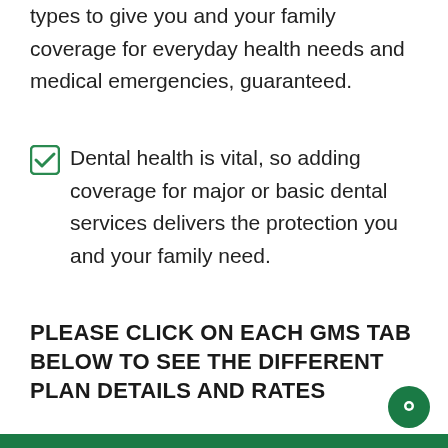types to give you and your family coverage for everyday health needs and medical emergencies, guaranteed.
Dental health is vital, so adding coverage for major or basic dental services delivers the protection you and your family need.
PLEASE CLICK ON EACH GMS TAB BELOW TO SEE THE DIFFERENT PLAN DETAILS AND RATES